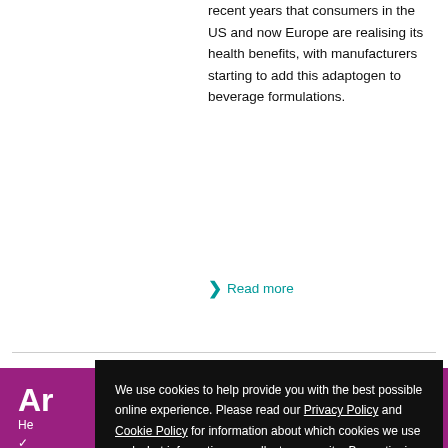recent years that consumers in the US and now Europe are realising its health benefits, with manufacturers starting to add this adaptogen to beverage formulations.
❯ Read more
Ar
He
✓
✓
✓ ...cing
We use cookies to help provide you with the best possible online experience. Please read our Privacy Policy and Cookie Policy for information about which cookies we use and what information we collect on our site. By continuing to use this site, you agree that we may store and access cookies on your device.
I AGREE